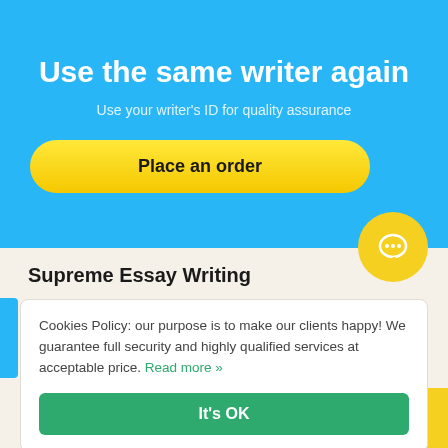Use the same writer again
Use your writer's ID for quality assurance
Place an order
Supreme Essay Writing
Cookies Policy: our purpose is to make our clients happy! We guarantee full security and highly qualified services at acceptable price. Read more »
It's OK